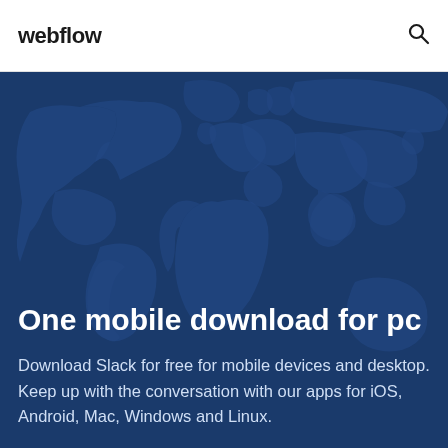webflow
[Figure (illustration): Dark navy blue background with a faint world map illustration, used as hero section background]
One mobile download for pc
Download Slack for free for mobile devices and desktop. Keep up with the conversation with our apps for iOS, Android, Mac, Windows and Linux.